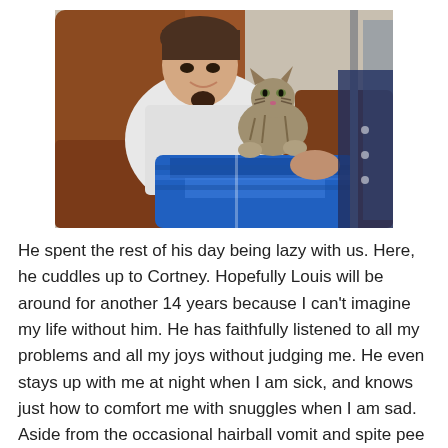[Figure (photo): A man sitting on a brown leather couch smiling, with a tabby cat resting on a blue blanket on his chest/lap.]
He spent the rest of his day being lazy with us. Here, he cuddles up to Cortney. Hopefully Louis will be around for another 14 years because I can't imagine my life without him. He has faithfully listened to all my problems and all my joys without judging me. He even stays up with me at night when I am sick, and knows just how to comfort me with snuggles when I am sad. Aside from the occasional hairball vomit and spite pee (ask Cort about that), he has